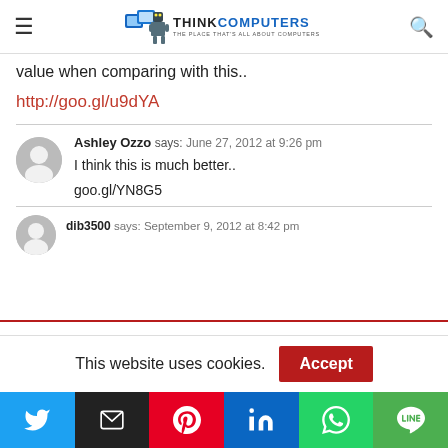ThinkComputers — The Place That's All About Computers
value when comparing with this..
http://goo.gl/u9dYA
Ashley Ozzo says: June 27, 2012 at 9:26 pm
I think this is much better..
goo.gl/YN8G5
dib3500 says: September 9, 2012 at 8:42 pm
This website uses cookies.
[Figure (other): Social share buttons: Twitter, Email, Pinterest, LinkedIn, WhatsApp, Line]